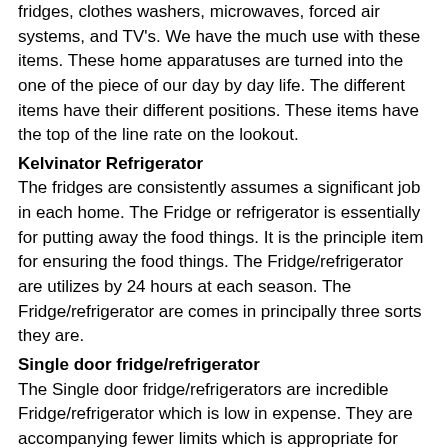fridges, clothes washers, microwaves, forced air systems, and TV's. We have the much use with these items. These home apparatuses are turned into the one of the piece of our day by day life. The different items have their different positions. These items have the top of the line rate on the lookout.
Kelvinator Refrigerator
The fridges are consistently assumes a significant job in each home. The Fridge or refrigerator is essentially for putting away the food things. It is the principle item for ensuring the food things. The Fridge/refrigerator are utilizes by 24 hours at each season. The Fridge/refrigerator are comes in principally three sorts they are.
Single door fridge/refrigerator
The Single door fridge/refrigerators are incredible Fridge/refrigerator which is low in expense. They are accompanying fewer limits which is appropriate for little putting away utilizations as it were. It has single way to the whole fridge. The single entryway Fridge/refrigerator has the little Fridge or refrigerator compartment in a similar entryway. This Fridge/refrigerator are the